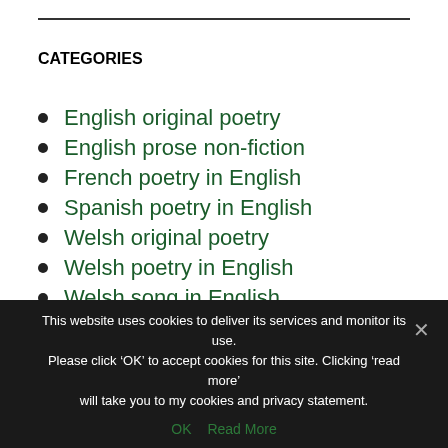CATEGORIES
English original poetry
English prose non-fiction
French poetry in English
Spanish poetry in English
Welsh original poetry
Welsh poetry in English
Welsh song in English
This website uses cookies to deliver its services and monitor its use. Please click ‘OK’ to accept cookies for this site. Clicking ‘read more’ will take you to my cookies and privacy statement. OK Read More